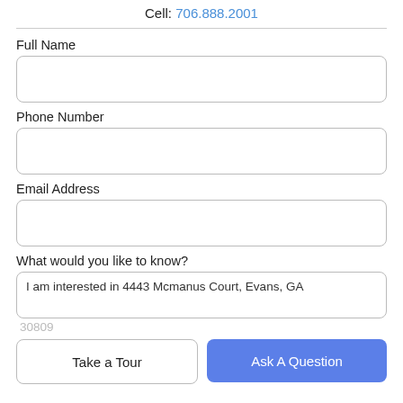Cell: 706.888.2001
Full Name
Phone Number
Email Address
What would you like to know?
I am interested in 4443 Mcmanus Court, Evans, GA
30809
Take a Tour
Ask A Question